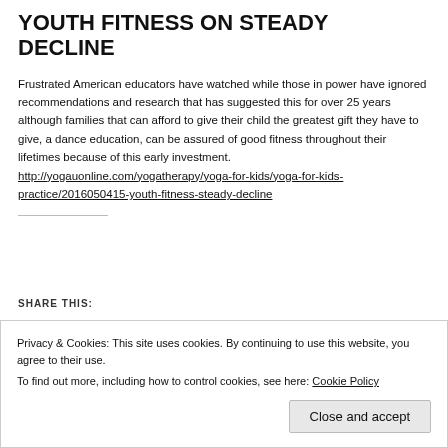YOUTH FITNESS ON STEADY DECLINE
Frustrated American educators have watched while those in power have ignored recommendations and research that has suggested this for over 25 years although families that can afford to give their child the greatest gift they have to give, a dance education, can be assured of good fitness throughout their lifetimes because of this early investment. http://yogauonline.com/yogatherapy/yoga-for-kids/yoga-for-kids-practice/2016050415-youth-fitness-steady-decline
SHARE THIS:
Privacy & Cookies: This site uses cookies. By continuing to use this website, you agree to their use. To find out more, including how to control cookies, see here: Cookie Policy